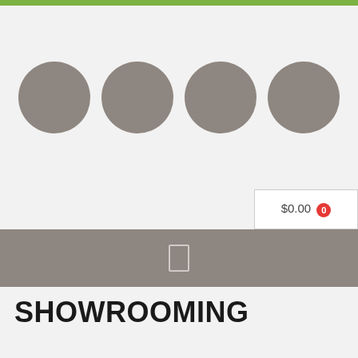[Figure (screenshot): Green top bar, four gray circles as logo placeholder, shopping cart button showing $0.00 with red badge showing 0, gray navigation bar with a page/document icon, and SHOWROOMING title text below.]
SHOWROOMING